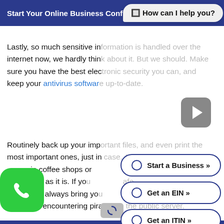Start Your Online Business Confidently   Show Me How »
🔲 How can I help you?
Lastly, so much sensitive information is handled over the internet now, we hardly think about it. But we should. Make sure you have the best electronic security you can, and keep your antivirus software up-to-date.
Routinely back up your important files, and even print the most important ones, just in case. Avoid conducting in coffee shops or other public locations as tempting as it is. If you like the safe ambiance, always bring your own hotspot so you never risk encountering pirates on the public server.